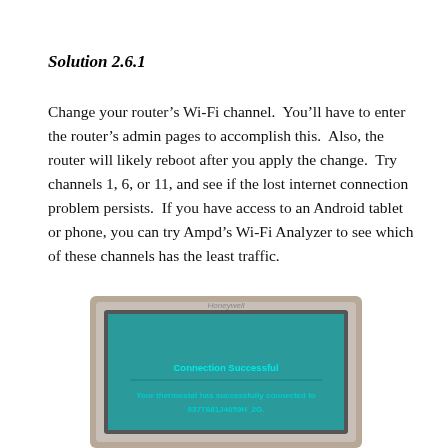Solution 2.6.1
Change your router’s Wi-Fi channel.  You’ll have to enter the router’s admin pages to accomplish this.  Also, the router will likely reboot after you apply the change.  Try channels 1, 6, or 11, and see if the lost internet connection problem persists.  If you have access to an Android tablet or phone, you can try Ampd’s Wi-Fi Analyzer to see which of these channels has the least traffic.
[Figure (photo): A Honeywell thermostat display showing a teal/green screen with the text 'Connection Successful' and 'Your thermostat has successfully connected to 937T681J4059H_2G.']